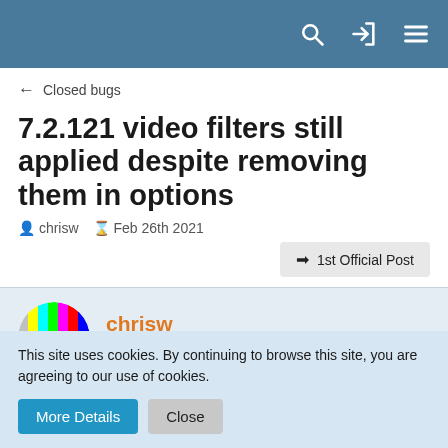Navigation header with search, login, and menu icons
← Closed bugs
7.2.121 video filters still applied despite removing them in options
chrisw  Feb 26th 2021
→ 1st Official Post
chrisw
Beginner
Feb 26th 2021
This site uses cookies. By continuing to browse this site, you are agreeing to our use of cookies.
More Details  Close